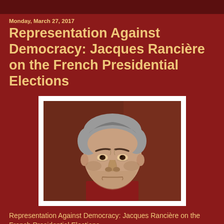Monday, March 27, 2017
Representation Against Democracy: Jacques Rancière on the French Presidential Elections
[Figure (photo): Portrait photograph of Jacques Rancière, an older man with grey hair, wearing a dark red/maroon top, with a serious expression, against a dark reddish-brown background.]
Representation Against Democracy: Jacques Rancière on the French Presidential Elections
By Éric Aeschimann / 29 March 2017